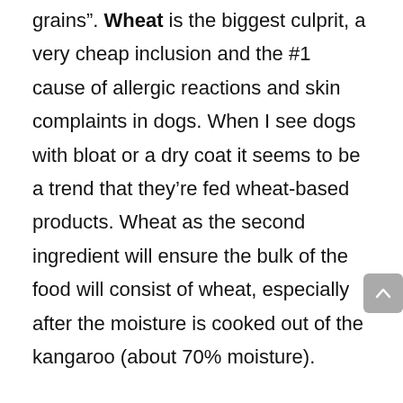grains". Wheat is the biggest culprit, a very cheap inclusion and the #1 cause of allergic reactions and skin complaints in dogs. When I see dogs with bloat or a dry coat it seems to be a trend that they're fed wheat-based products. Wheat as the second ingredient will ensure the bulk of the food will consist of wheat, especially after the moisture is cooked out of the kangaroo (about 70% moisture).
Sorghum is another cheap starchy grain filler, and we find this as the third ingredient. After that we find soya beans, another cause of allergies in dogs, especially when fed over an extended period. The other two common fillers we find in dog food are